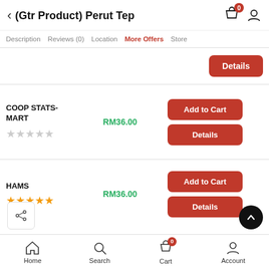(Gtr Product) Perut Teř
Description | Reviews (0) | Location | More Offers | Store
Details
COOP STATS-MART
RM36.00
Add to Cart
Details
HAMS
RM36.00
Add to Cart
Details
Home | Search | Cart (0) | Account